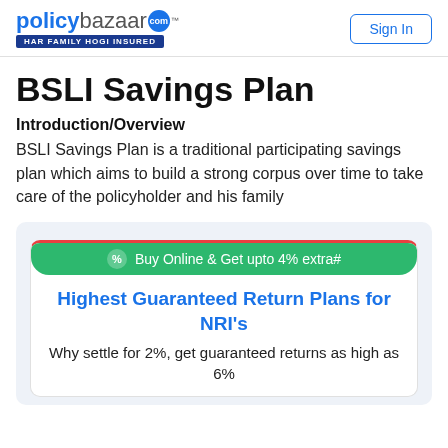policybazaar.com HAR FAMILY HOGI INSURED | Sign In
BSLI Savings Plan
Introduction/Overview
BSLI Savings Plan is a traditional participating savings plan which aims to build a strong corpus over time to take care of the policyholder and his family
Buy Online & Get upto 4% extra#
Highest Guaranteed Return Plans for NRI's
Why settle for 2%, get guaranteed returns as high as 6%